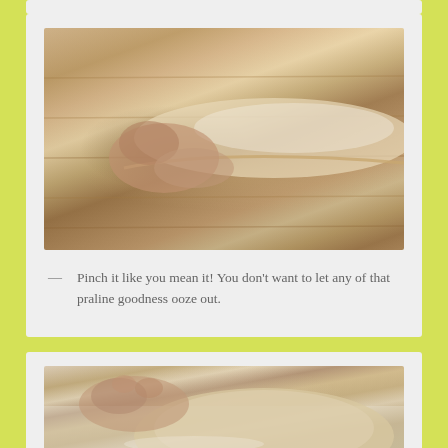[Figure (photo): Close-up photo of hands pinching/sealing bread dough on a floured wooden surface]
— Pinch it like you mean it! You don’t want to let any of that praline goodness ooze out.
[Figure (photo): Photo of a hand touching/pinching a round ball of bread dough on a light surface]